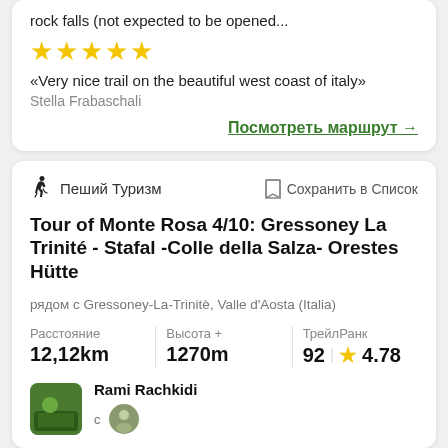rock falls (not expected to be opened...
[Figure (other): Five gold star rating]
«Very nice trail on the beautiful west coast of italy»
Stella Frabaschali
Посмотреть маршрут →
Пеший Туризм
Сохранить в Список
Tour of Monte Rosa 4/10: Gressoney La Trinité - Stafal -Colle della Salza- Orestes Hütte
рядом с Gressoney-La-Trinitè, Valle d'Aosta (Italia)
| Расстояние | Высота + | ТрейлРанк |
| --- | --- | --- |
| 12,12km | 1270m | 92 ★ 4.78 |
Rami Rachkidi
с
[Figure (photo): Bottom thumbnail photos of trail scenery]